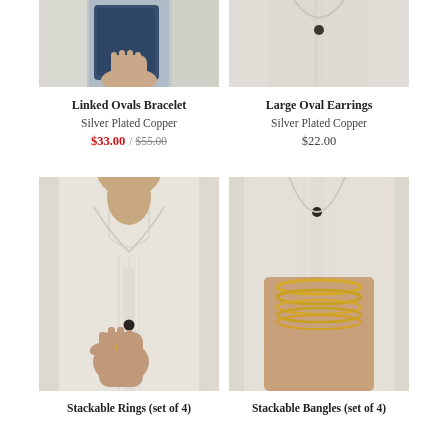[Figure (photo): Product photo of Linked Ovals Bracelet, person holding blue denim item]
Linked Ovals Bracelet
Silver Plated Copper
$33.00 / $55.00
[Figure (photo): Product photo of Large Oval Earrings, person in white linen shirt]
Large Oval Earrings
Silver Plated Copper
$22.00
[Figure (photo): Product photo of Stackable Rings (set of 4), person in white linen shirt fingering button]
Stackable Rings (set of 4)
[Figure (photo): Product photo of Stackable Bangles (set of 4), person in white shirt showing gold bangles on wrist]
Stackable Bangles (set of 4)